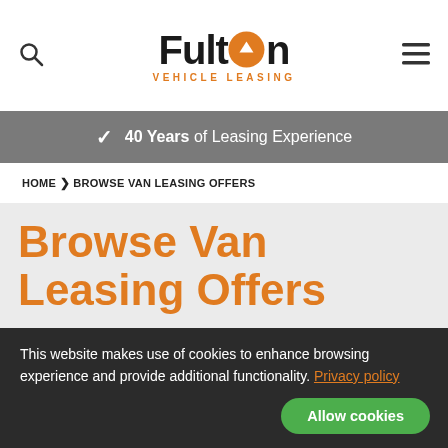[Figure (logo): Fulton Vehicle Leasing logo with orange circular arrow icon in the letter O]
✓ 40 Years of Leasing Experience
HOME > BROWSE VAN LEASING OFFERS
Browse Van Leasing Offers
[Figure (photo): Partial view of a vehicle against a sky with trees, with TOP DEAL and IN STOCK badges]
This website makes use of cookies to enhance browsing experience and provide additional functionality. Privacy policy
Allow cookies